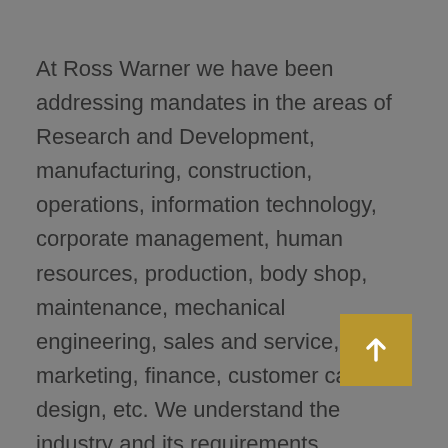At Ross Warner we have been addressing mandates in the areas of Research and Development, manufacturing, construction, operations, information technology, corporate management, human resources, production, body shop, maintenance, mechanical engineering, sales and service, marketing, finance, customer care, design, etc. We understand the industry and its requirements comprehensively and our team of consultants with a robust background of the industry across the different levels of the value chain ensures that we work on these mandates very efficiently.